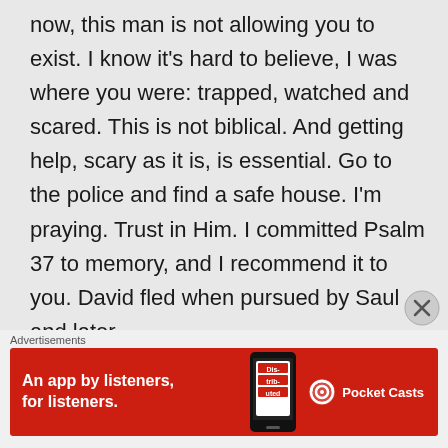now, this man is not allowing you to exist. I know it's hard to believe, I was where you were: trapped, watched and scared. This is not biblical. And getting help, scary as it is, is essential. Go to the police and find a safe house. I'm praying. Trust in Him. I committed Psalm 37 to memory, and I recommend it to you. David fled when pursued by Saul and later
[Figure (other): Red advertisement banner for Pocket Casts app showing 'An app by listeners, for listeners.' with a phone image and Pocket Casts logo]